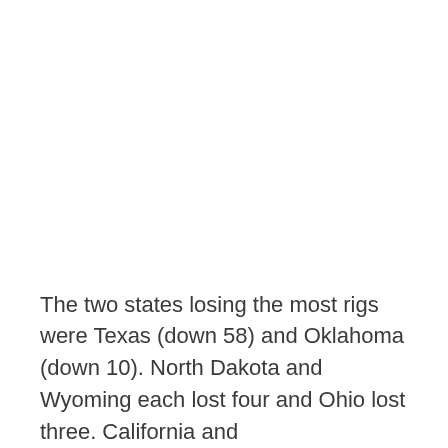The two states losing the most rigs were Texas (down 58) and Oklahoma (down 10). North Dakota and Wyoming each lost four and Ohio lost three. California and